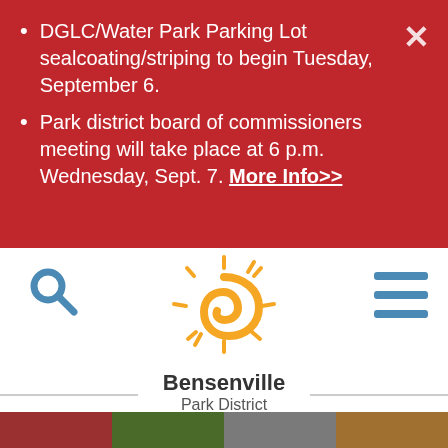DGLC/Water Park Parking Lot sealcoating/striping to begin Tuesday, September 6.
Park district board of commissioners meeting will take place at 6 p.m. Wednesday, Sept. 7. More Info>>
[Figure (logo): Bensenville Park District logo with stylized sun/swirl in yellow and orange]
Bensenville
Park District
[Figure (photo): Bottom strip of photos showing park/event scenes]